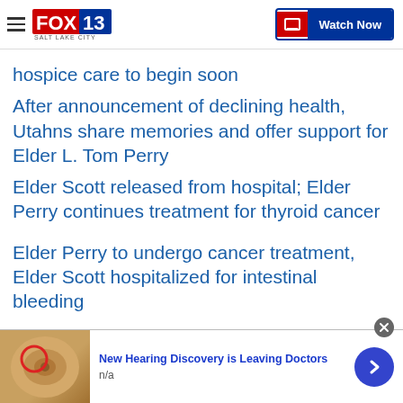FOX 13 Salt Lake City | Watch Now
hospice care to begin soon
After announcement of declining health, Utahns share memories and offer support for Elder L. Tom Perry
Elder Scott released from hospital; Elder Perry continues treatment for thyroid cancer
Elder Perry to undergo cancer treatment, Elder Scott hospitalized for intestinal bleeding
[Figure (other): Advertisement banner: ear anatomy image with red circle highlight, text 'New Hearing Discovery is Leaving Doctors', subtext 'n/a', blue arrow button on right, close X button top right]